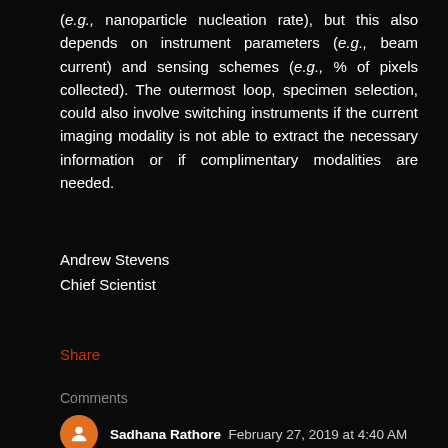(e.g., nanoparticle nucleation rate), but this also depends on instrument parameters (e.g., beam current) and sensing schemes (e.g., % of pixels collected). The outermost loop, specimen selection, could also involve switching instruments if the current imaging modality is not able to extract the necessary information or if complimentary modalities are needed.
Andrew Stevens
Chief Scientist
Share
Comments
Sadhana Rathore  February 27, 2019 at 4:40 AM